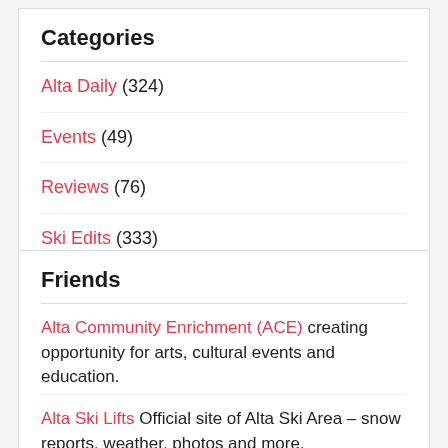Categories
Alta Daily (324)
Events (49)
Reviews (76)
Ski Edits (333)
Friends
Alta Community Enrichment (ACE) creating opportunity for arts, cultural events and education.
Alta Ski Lifts Official site of Alta Ski Area – snow reports, weather, photos and more.